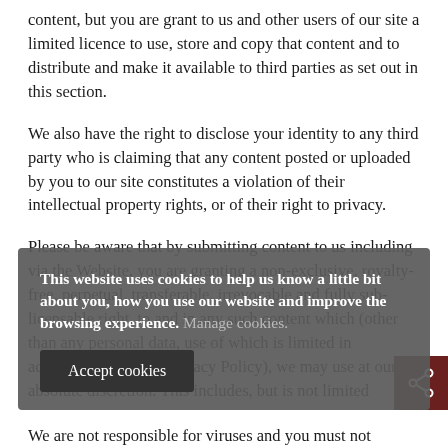content, but you are grant to us and other users of our site a limited licence to use, store and copy that content and to distribute and make it available to third parties as set out in this section.
We also have the right to disclose your identity to any third party who is claiming that any content posted or uploaded by you to our site constitutes a violation of their intellectual property rights, or of their right to privacy.
Please be aware that by submitting content to us including via the Website, you are granting a non-exclusive, royalty-free, perpetual, transferable, irrevocable and fully sub-licensable right, to and in any such content which (other than any personal data, use of which is limited in accordance with our Privacy Policy), we may use at our absolute discretion. This includes, but is not limited
This website uses cookies to help us know a little bit about you, how you use our website and improve the browsing experience. Manage cookies.
Accept cookies
We are not responsible for viruses and you must not